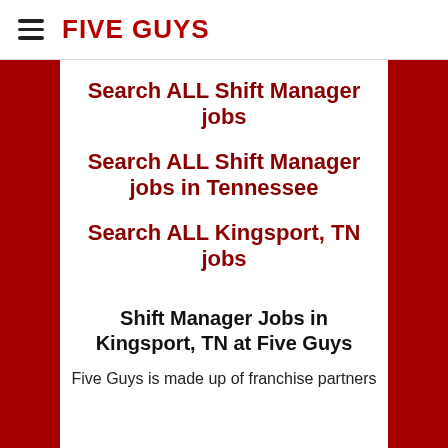FIVE GUYS
Search ALL Shift Manager jobs
Search ALL Shift Manager jobs in Tennessee
Search ALL Kingsport, TN jobs
Shift Manager Jobs in Kingsport, TN at Five Guys
Five Guys is made up of franchise partners